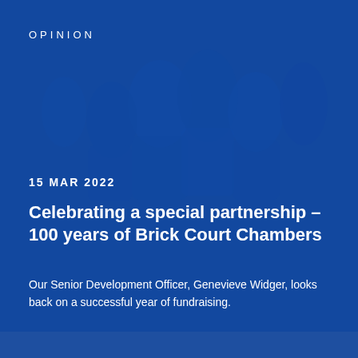[Figure (photo): Background photo of people in a group setting, overlaid with a dark blue semi-transparent layer]
OPINION
15 MAR 2022
Celebrating a special partnership – 100 years of Brick Court Chambers
Our Senior Development Officer, Genevieve Widger, looks back on a successful year of fundraising.